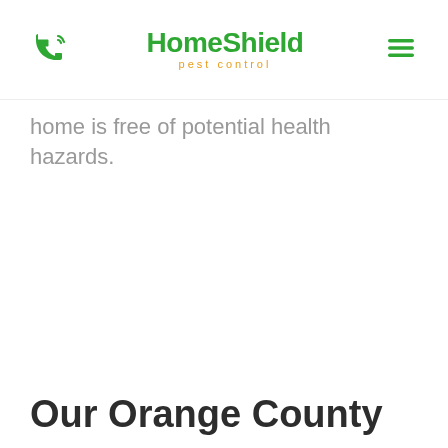HomeShield pest control
home is free of potential health hazards.
Our Orange County